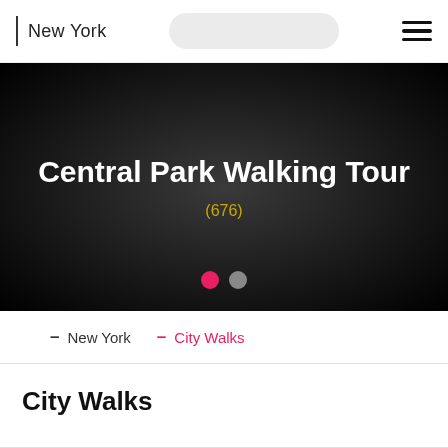New York
Central Park Walking Tour
(676)
– New York  – City Walks
City Walks